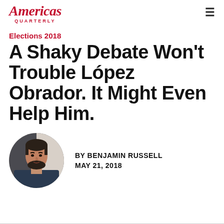Americas Quarterly
Elections 2018
A Shaky Debate Won't Trouble López Obrador. It Might Even Help Him.
[Figure (photo): Circular headshot photo of Benjamin Russell, a man with dark hair and beard wearing a dark shirt]
BY BENJAMIN RUSSELL
MAY 21, 2018